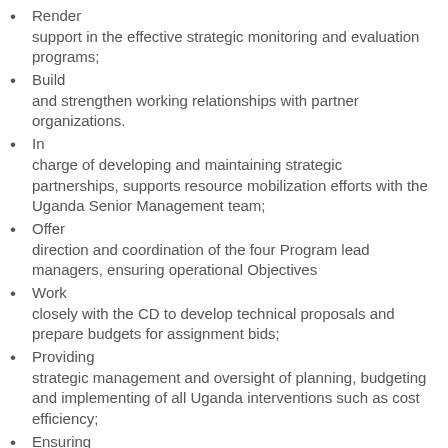Render support in the effective strategic monitoring and evaluation programs;
Build and strengthen working relationships with partner organizations.
In charge of developing and maintaining strategic partnerships, supports resource mobilization efforts with the Uganda Senior Management team;
Offer direction and coordination of the four Program lead managers, ensuring operational Objectives
Work closely with the CD to develop technical proposals and prepare budgets for assignment bids;
Providing strategic management and oversight of planning, budgeting and implementing of all Uganda interventions such as cost efficiency;
Ensuring